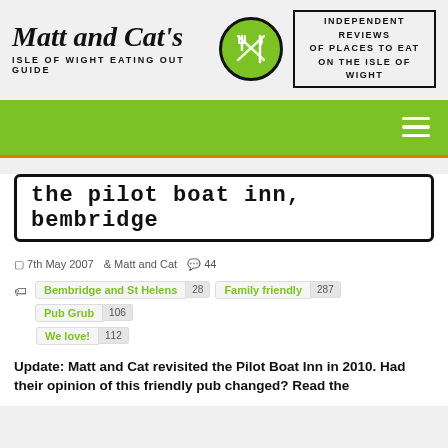[Figure (logo): Matt and Cat's Isle of Wight Eating Out Guide logo with green circle containing crossed fork and knife, and tagline box reading 'Independent reviews of places to eat on the Isle of Wight']
[Figure (other): Green navigation bar with hamburger menu icon on right]
The Pilot Boat Inn, Bembridge
7th May 2007   Matt and Cat   44
Bembridge and St Helens 28   Family friendly 287   Pub Grub 106   We love! 112
Update: Matt and Cat revisited the Pilot Boat Inn in 2010. Had their opinion of this friendly pub changed? Read the